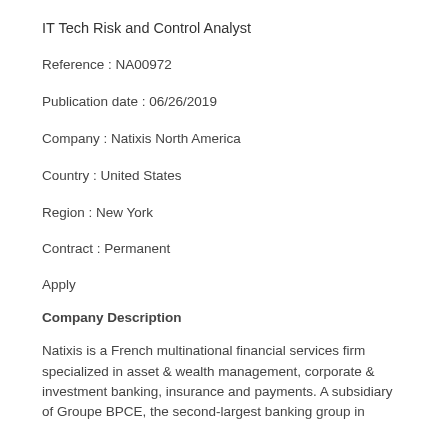IT Tech Risk and Control Analyst
Reference : NA00972
Publication date : 06/26/2019
Company : Natixis North America
Country : United States
Region : New York
Contract : Permanent
Apply
Company Description
Natixis is a French multinational financial services firm specialized in asset & wealth management, corporate & investment banking, insurance and payments. A subsidiary of Groupe BPCE, the second-largest banking group in